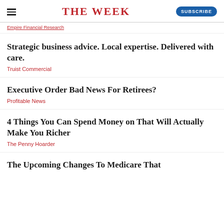THE WEEK | SUBSCRIBE
Empire Financial Research
Strategic business advice. Local expertise. Delivered with care.
Truist Commercial
Executive Order Bad News For Retirees?
Profitable News
4 Things You Can Spend Money on That Will Actually Make You Richer
The Penny Hoarder
The Upcoming Changes To Medicare That